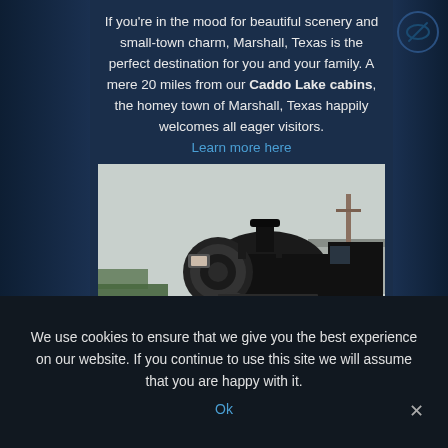If you're in the mood for beautiful scenery and small-town charm, Marshall, Texas is the perfect destination for you and your family. A mere 20 miles from our Caddo Lake cabins, the homey town of Marshall, Texas happily welcomes all eager visitors. Learn more here
[Figure (photo): Black and white photograph of a vintage steam locomotive (train engine) parked outdoors with trees and a utility pole visible in the background, and a light overcast sky.]
We use cookies to ensure that we give you the best experience on our website. If you continue to use this site we will assume that you are happy with it.
Ok